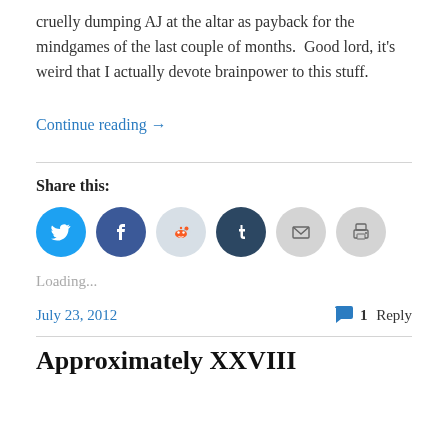cruelly dumping AJ at the altar as payback for the mindgames of the last couple of months.  Good lord, it's weird that I actually devote brainpower to this stuff.
Continue reading →
Share this:
[Figure (other): Row of social share icon buttons: Twitter (blue bird), Facebook (blue f), Reddit (alien, light blue), Tumblr (dark navy t), Email (envelope, light grey), Print (printer, light grey)]
Loading...
July 23, 2012
1 Reply
Approximately XXVIII